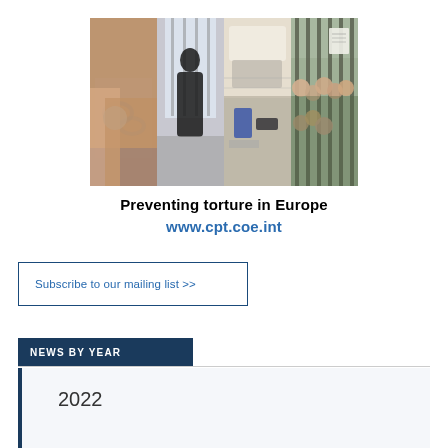[Figure (photo): Four-panel collage photo strip showing prison/detention scenes: handcuffs on wrists, person standing at barred window, items on a bed in a cell, and people behind prison bars.]
Preventing torture in Europe
www.cpt.coe.int
Subscribe to our mailing list  >>
NEWS BY YEAR
2022